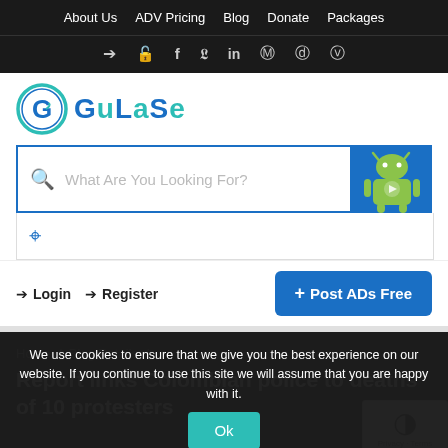About Us   ADV Pricing   Blog   Donate   Packages
→ 🔓 f  in  ⓟ  📷  🔴
[Figure (logo): GuLaSe logo with circular G icon and stylized text GuLaSe in blue/green]
What Are You Looking For?
Login   Register   + Post ADs Free
Home  /  Blog Details  /
Report links Colombian police to deaths of 10 protesters
We use cookies to ensure that we give you the best experience on our website. If you continue to use this site we will assume that you are happy with it.
Ok